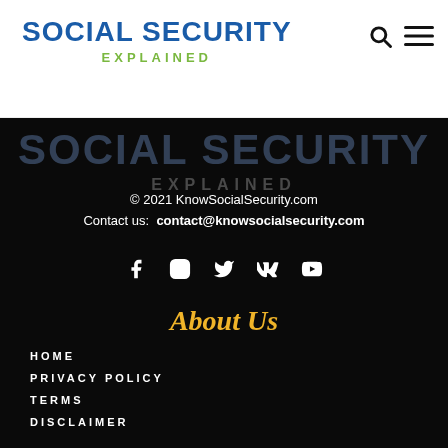SOCIAL SECURITY EXPLAINED
[Figure (logo): Social Security Explained logo (ghost/faded) on dark background]
© 2021 KnowSocialSecurity.com
Contact us: contact@knowsocialsecurity.com
[Figure (infographic): Social media icons row: Facebook, Instagram, Twitter, VK, YouTube]
About Us
HOME
PRIVACY POLICY
TERMS
DISCLAIMER
Popular Category
NUMBER364